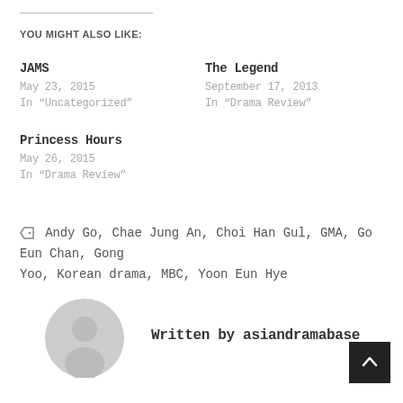YOU MIGHT ALSO LIKE:
JAMS
May 23, 2015
In “Uncategorized”
The Legend
September 17, 2013
In “Drama Review”
Princess Hours
May 26, 2015
In “Drama Review”
🏷 Andy Go, Chae Jung An, Choi Han Gul, GMA, Go Eun Chan, Gong Yoo, Korean drama, MBC, Yoon Eun Hye
Written by asiandramabase